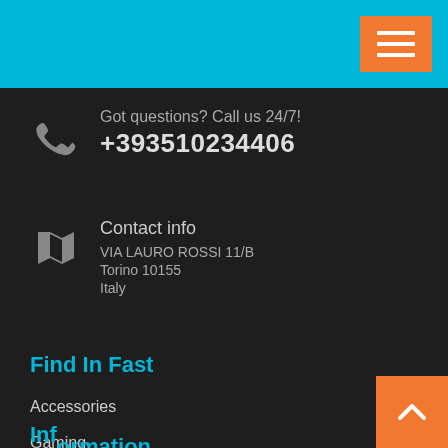[Figure (other): Cyan top navigation bar with orange hamburger menu button (three white horizontal lines)]
Got questions? Call us 24/7!
+393510234406
Contact info
VIA LAURO ROSSI 11/B
Torino 10155
Italy
Find In Fast
Accessories
Gaming
Laptops & Computer
Mac Computers
PC Computers
Ultrabooks
Information